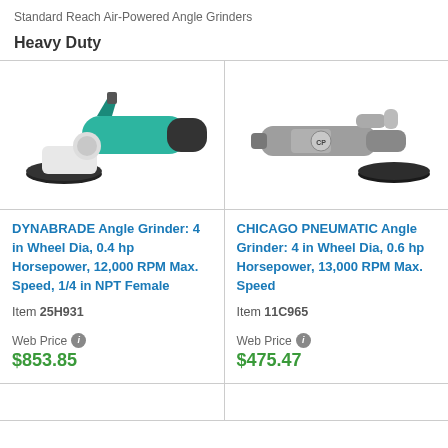Standard Reach Air-Powered Angle Grinders
Heavy Duty
[Figure (photo): DYNABRADE air-powered angle grinder with teal/black body and 4-inch black disc wheel]
DYNABRADE Angle Grinder: 4 in Wheel Dia, 0.4 hp Horsepower, 12,000 RPM Max. Speed, 1/4 in NPT Female
Item 25H931
Web Price $853.85
[Figure (photo): Chicago Pneumatic air-powered angle grinder with silver/grey body and 4-inch disc wheel]
CHICAGO PNEUMATIC Angle Grinder: 4 in Wheel Dia, 0.6 hp Horsepower, 13,000 RPM Max. Speed
Item 11C965
Web Price $475.47